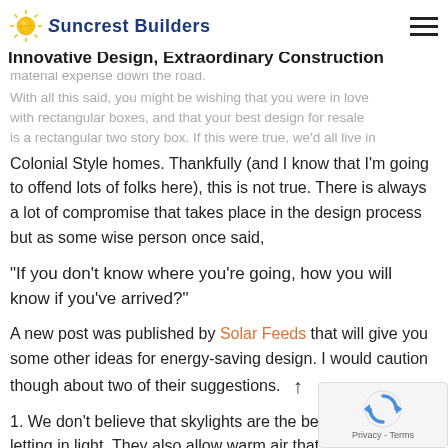Suncrest Builders — Innovative Design, Extraordinary Construction
material expense down the road.
With all this said, you might be wishing that you were in love with rectangular boxes, and that your best design for resale is a rectangular two story box. If this were true, we'd all live in Colonial Style homes. Thankfully (and I know that I'm going to offend lots of folks here), this is not true. There is always a lot of compromise that takes place in the design process but as some wise person once said,
“If you don’t know where you’re going, how you will know if you’ve arrived?”
A new post was published by Solar Feeds that will give you some other ideas for energy-saving design. I would caution though about two of their suggestions.
1. We don’t believe that skylights are the best solution for letting in light. They also allow warm air that rises in the winter to escape and allow heat to enter from the...